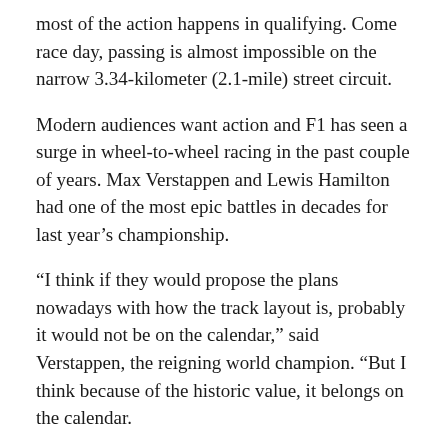most of the action happens in qualifying. Come race day, passing is almost impossible on the narrow 3.34-kilometer (2.1-mile) street circuit.
Modern audiences want action and F1 has seen a surge in wheel-to-wheel racing in the past couple of years. Max Verstappen and Lewis Hamilton had one of the most epic battles in decades for last year’s championship.
“I think if they would propose the plans nowadays with how the track layout is, probably it would not be on the calendar,” said Verstappen, the reigning world champion. “But I think because of the historic value, it belongs on the calendar.
It’s hard to picture F1 without Monaco.
On the glistening harbor, it’s a case of those who have big yachts vs. those who have huge yachts. Champagne corks pop and glasses clink while the rich